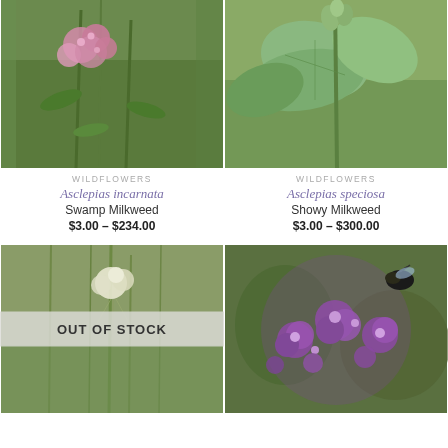[Figure (photo): Photo of Asclepias incarnata (Swamp Milkweed) with pink flowers against green foliage background]
WILDFLOWERS
Asclepias incarnata
Swamp Milkweed
$3.00 – $234.00
[Figure (photo): Photo of Asclepias speciosa (Showy Milkweed) plant with large green leaves]
WILDFLOWERS
Asclepias speciosa
Showy Milkweed
$3.00 – $300.00
[Figure (photo): Photo of plant with white/cream flowers and OUT OF STOCK overlay banner]
OUT OF STOCK
[Figure (photo): Photo of Asclepias purpurascens with deep purple flowers and a bee]